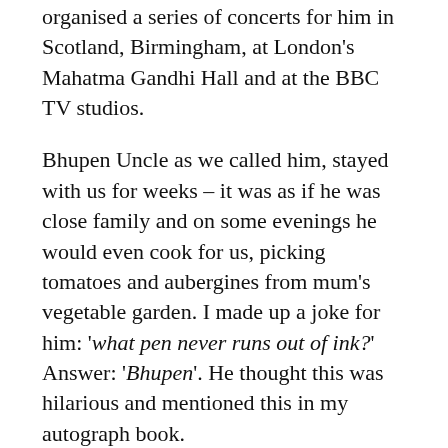organised a series of concerts for him in Scotland, Birmingham, at London's Mahatma Gandhi Hall and at the BBC TV studios.
Bhupen Uncle as we called him, stayed with us for weeks – it was as if he was close family and on some evenings he would even cook for us, picking tomatoes and aubergines from mum's vegetable garden. I made up a joke for him: 'what pen never runs out of ink?' Answer: 'Bhupen'. He thought this was hilarious and mentioned this in my autograph book.
It was only when he performed at Trafalgar Square did I realise how immense Bhupen Uncle was; it was a truly emotional to hear Assamese songs giving such pleasure to 30,000 people in the central square in London. And all the while,